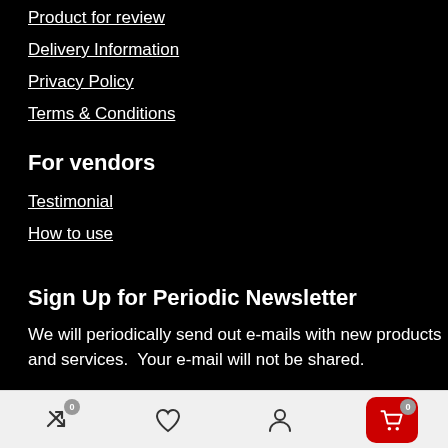Product for review
Delivery Information
Privacy Policy
Terms & Conditions
For vendors
Testimonial
How to use
Sign Up for Periodic Newsletter
We will periodically send out e-mails with new products and services.  Your e-mail will not be shared.
Bottom navigation bar with: compare (0), wishlist, account, cart (0)